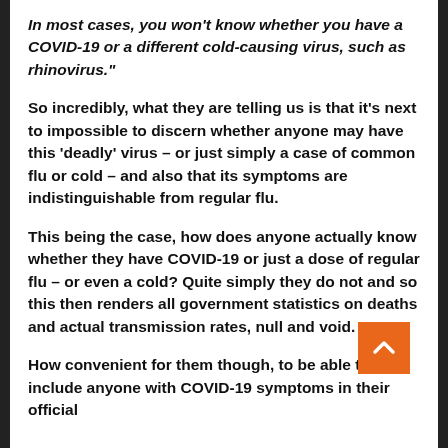In most cases, you won't know whether you have a COVID-19 or a different cold-causing virus, such as rhinovirus."
So incredibly, what they are telling us is that it's next to impossible to discern whether anyone may have this 'deadly' virus – or just simply a case of common flu or cold – and also that its symptoms are indistinguishable from regular flu.
This being the case, how does anyone actually know whether they have COVID-19 or just a dose of regular flu – or even a cold? Quite simply they do not and so this then renders all government statistics on deaths and actual transmission rates, null and void.
How convenient for them though, to be able to include anyone with COVID-19 symptoms in their official